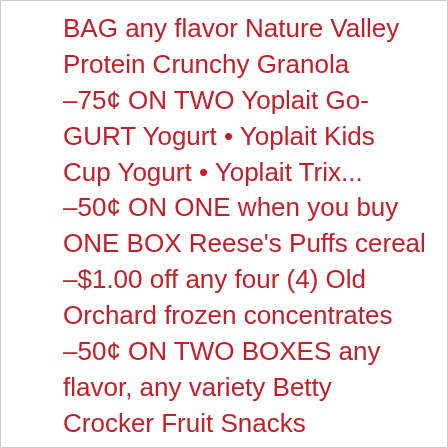BAG any flavor Nature Valley Protein Crunchy Granola
–75¢ ON TWO Yoplait Go-GURT Yogurt • Yoplait Kids Cup Yogurt • Yoplait Trix...
–50¢ ON ONE when you buy ONE BOX Reese's Puffs cereal
–$1.00 off any four (4) Old Orchard frozen concentrates
–50¢ ON TWO BOXES any flavor, any variety Betty Crocker Fruit Snacks